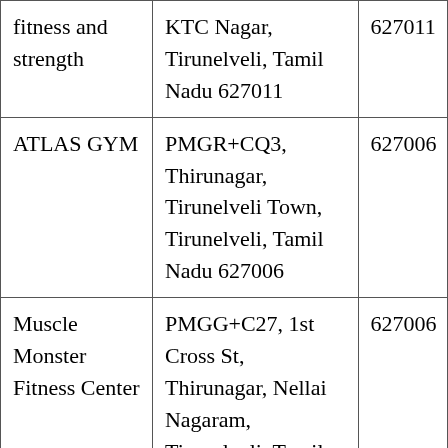| fitness and strength | KTC Nagar, Tirunelveli, Tamil Nadu 627011 | 627011 |
| ATLAS GYM | PMGR+CQ3, Thirunagar, Tirunelveli Town, Tirunelveli, Tamil Nadu 627006 | 627006 |
| Muscle Monster Fitness Center | PMGG+C27, 1st Cross St, Thirunagar, Nellai Nagaram, Tirunelveli, Tamil | 627006 |